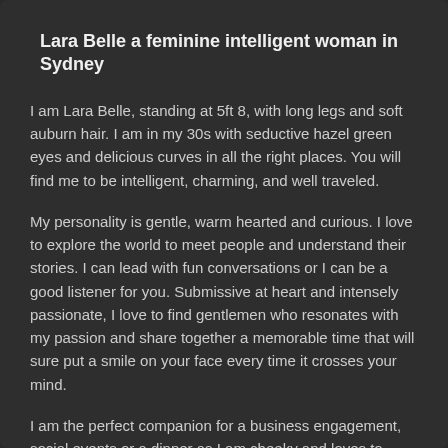Lara Belle a feminine intelligent woman in Sydney
I am Lara Belle, standing at 5ft 8, with long legs and soft auburn hair. I am in my 30s with seductive hazel green eyes and delicious curves in all the right places. You will find me to be intelligent, charming, and well traveled.
My personality is gentle, warm hearted and curious. I love to explore the world to meet people and understand their stories. I can lead with fun conversations or I can be a good listener for you. Submissive at heart and intensely passionate, I love to find gentlemen who resonates with my passion and share together a memorable time that will sure put a smile on your face every time it crosses your mind.
I am the perfect companion for a business engagement, social events or a dinner as I am cheeky and loves to have a